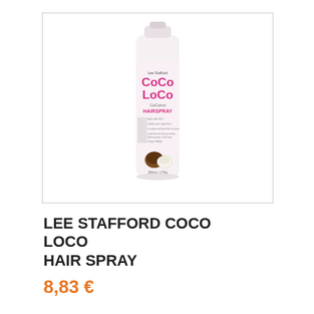[Figure (photo): Lee Stafford Coco Loco Coconut Hairspray aerosol can, white/pink packaging with pink CoCo LoCo branding and coconut imagery, 250ml/175g]
LEE STAFFORD COCO LOCO HAIR SPRAY
8,83 €